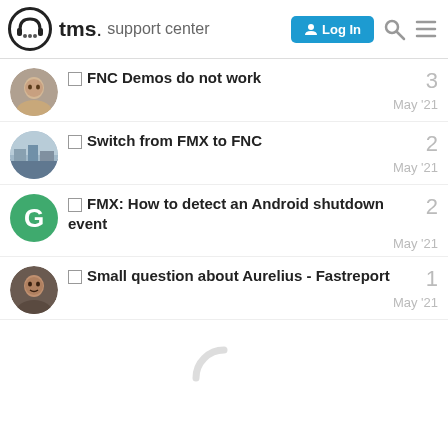tms. support center — Log In
FNC Demos do not work — 3 — May '21
Switch from FMX to FNC — 2 — May '21
FMX: How to detect an Android shutdown event — 2 — May '21
Small question about Aurelius - Fastreport — 1 — May '21
[Figure (illustration): Loading spinner (partial C-shape arc in gray)]